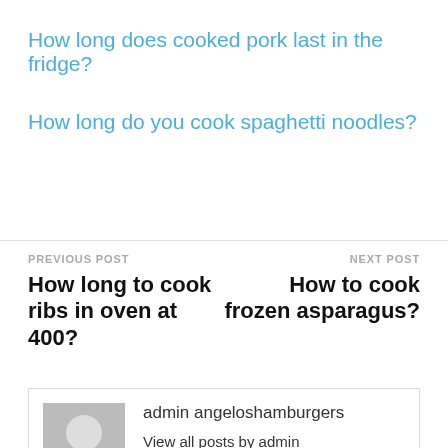How long does cooked pork last in the fridge?
How long do you cook spaghetti noodles?
PREVIOUS POST
How long to cook ribs in oven at 400?
NEXT POST
How to cook frozen asparagus?
admin angeloshamburgers
View all posts by admin angeloshamburgers